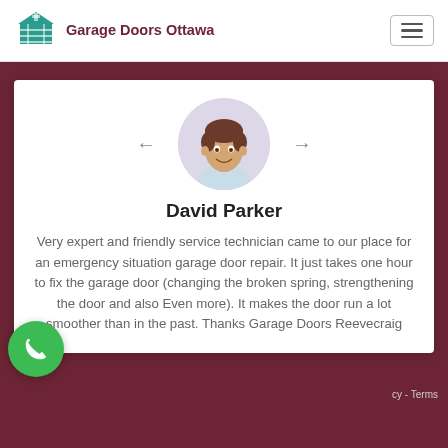[Figure (logo): Garage Doors Ottawa logo: teal garage door icon above company name in dark red/maroon text]
Garage Doors Ottawa
[Figure (photo): Circular portrait photo of a young smiling man with brown hair, David Parker, on light lavender background]
David Parker
Very expert and friendly service technician came to our place for an emergency situation garage door repair. It just takes one hour to fix the garage door (changing the broken spring, strengthening the door and also Even more). It makes the door run a lot smoother than in the past. Thanks Garage Doors Reevecraig
cy - Terms